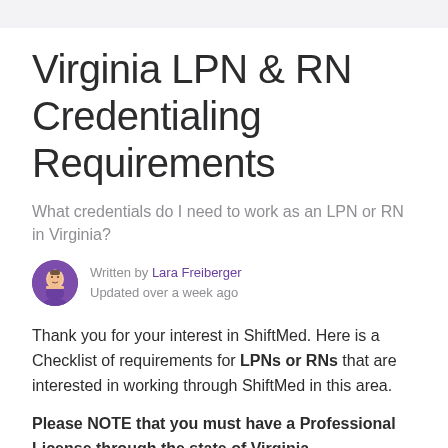Virginia LPN & RN Credentialing Requirements
What credentials do I need to work as an LPN or RN in Virginia?
Written by Lara Freiberger
Updated over a week ago
Thank you for your interest in ShiftMed. Here is a Checklist of requirements for LPNs or RNs that are interested in working through ShiftMed in this area.
Please NOTE that you must have a Professional License through the state of Virginia.